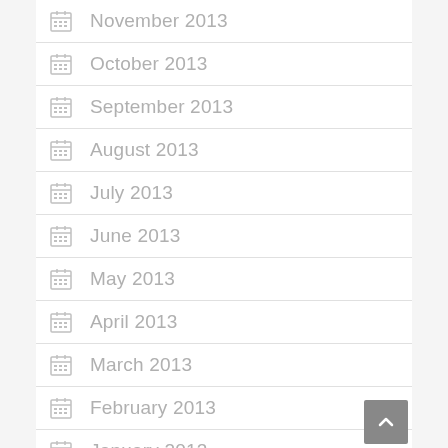November 2013
October 2013
September 2013
August 2013
July 2013
June 2013
May 2013
April 2013
March 2013
February 2013
January 2013
December 2012